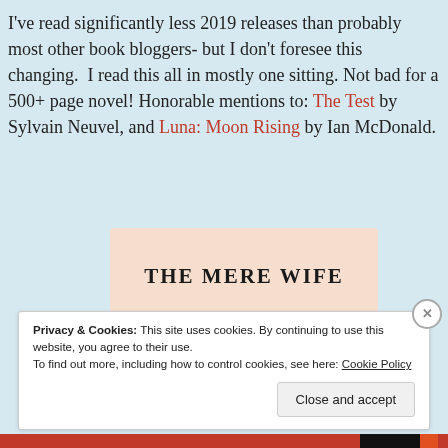I've read significantly less 2019 releases than probably most other book bloggers- but I don't foresee this changing. I read this all in mostly one sitting. Not bad for a 500+ page novel! Honorable mentions to: The Test by Sylvain Neuvel, and Luna: Moon Rising by Ian McDonald.
[Figure (illustration): Book cover of 'The Mere Wife' on a peach/salmon background with gothic title text and an orange dragon illustration below]
Privacy & Cookies: This site uses cookies. By continuing to use this website, you agree to their use.
To find out more, including how to control cookies, see here: Cookie Policy
Close and accept